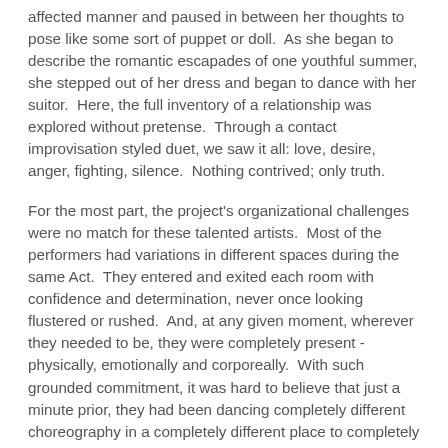affected manner and paused in between her thoughts to pose like some sort of puppet or doll.  As she began to describe the romantic escapades of one youthful summer, she stepped out of her dress and began to dance with her suitor.  Here, the full inventory of a relationship was explored without pretense.  Through a contact improvisation styled duet, we saw it all: love, desire, anger, fighting, silence.  Nothing contrived; only truth.
For the most part, the project's organizational challenges were no match for these talented artists.  Most of the performers had variations in different spaces during the same Act.  They entered and exited each room with confidence and determination, never once looking flustered or rushed.  And, at any given moment, wherever they needed to be, they were completely present - physically, emotionally and corporeally.  With such grounded commitment, it was hard to believe that just a minute prior, they had been dancing completely different choreography in a completely different place to completely different music with a completely different purpose.